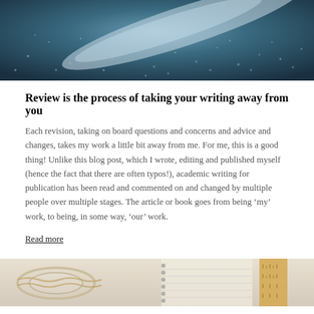[Figure (photo): Close-up photograph of water droplets on a dark blue-grey surface, with a diagonal light reflection streak]
Review is the process of taking your writing away from you
Each revision, taking on board questions and concerns and advice and changes, takes my work a little bit away from me. For me, this is a good thing! Unlike this blog post, which I wrote, editing and published myself (hence the fact that there are often typos!), academic writing for publication has been read and commented on and changed by multiple people over multiple stages. The article or book goes from being ‘my’ work, to being, in some way, ‘our’ work.
Read more
[Figure (photo): Close-up photograph of glasses, a spiral notebook, and a wooden ruler on a light surface]